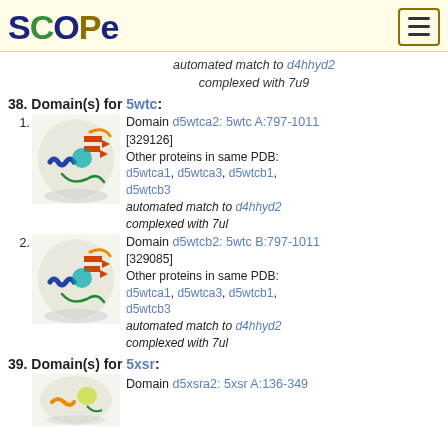SCOPe
automated match to d4hhyd2 complexed with 7u9
38. Domain(s) for 5wtc:
[Figure (photo): Protein structure image for 5wtc domain 1 (d5wtca2)]
Domain d5wtca2: 5wtc A:797-1011 [329126] Other proteins in same PDB: d5wtca1, d5wtca3, d5wtcb1, d5wtcb3 automated match to d4hhyd2 complexed with 7ul
[Figure (photo): Protein structure image for 5wtc domain 2 (d5wtcb2)]
Domain d5wtcb2: 5wtc B:797-1011 [329085] Other proteins in same PDB: d5wtca1, d5wtca3, d5wtcb1, d5wtcb3 automated match to d4hhyd2 complexed with 7ul
39. Domain(s) for 5xsr:
[Figure (photo): Protein structure image for 5xsr domain (d5xsra2)]
Domain d5xsra2: 5xsr A:136-349